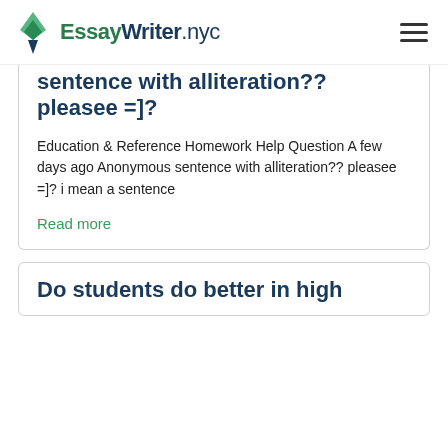EssayWriter.nyc
sentence with alliteration?? pleasee =]?
Education & Reference Homework Help Question A few days ago Anonymous sentence with alliteration?? pleasee =]? i mean a sentence
Read more
Do students do better in high